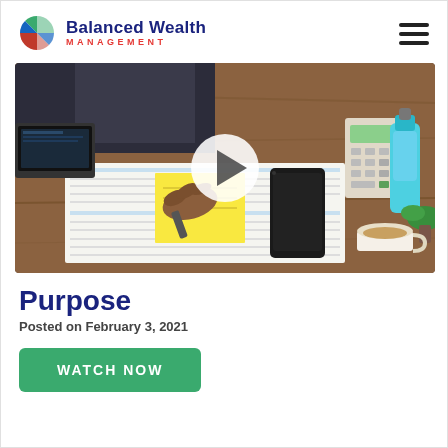Balanced Wealth Management
[Figure (photo): Person writing on a yellow sticky note at a desk with a phone, calculator, coffee, and blue bottle. A video play button overlay is shown in the center.]
Purpose
Posted on February 3, 2021
WATCH NOW